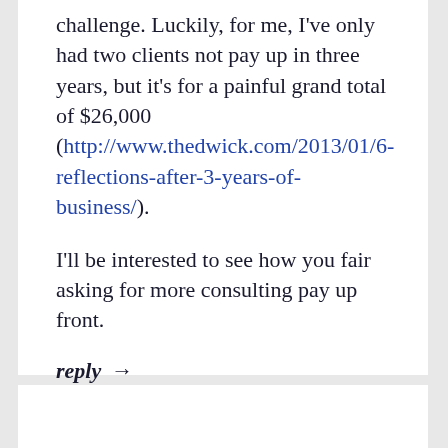challenge. Luckily, for me, I've only had two clients not pay up in three years, but it's for a painful grand total of $26,000 (http://www.thedwick.com/2013/01/6-reflections-after-3-years-of-business/).
I'll be interested to see how you fair asking for more consulting pay up front.
reply →